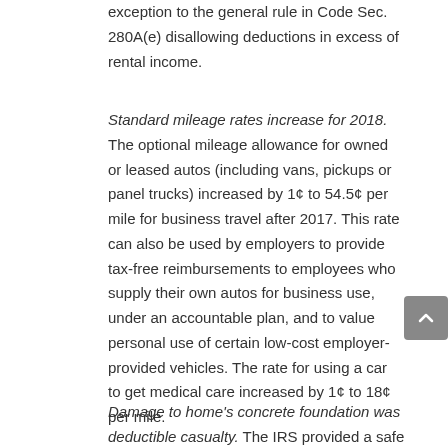exception to the general rule in Code Sec. 280A(e) disallowing deductions in excess of rental income.
Standard mileage rates increase for 2018. The optional mileage allowance for owned or leased autos (including vans, pickups or panel trucks) increased by 1¢ to 54.5¢ per mile for business travel after 2017. This rate can also be used by employers to provide tax-free reimbursements to employees who supply their own autos for business use, under an accountable plan, and to value personal use of certain low-cost employer-provided vehicles. The rate for using a car to get medical care increased by 1¢ to 18¢ per mile.
Damage to home's concrete foundation was deductible casualty. The IRS provided a safe harbor that taxpayers...